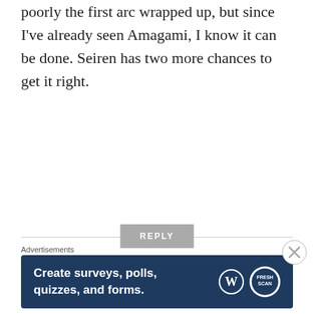poorly the first arc wrapped up, but since I've already seen Amagami, I know it can be done. Seiren has two more chances to get it right.
REPLY
[Figure (photo): Avatar of Frog-kun: cartoon frog character with large eyes]
Frog-kun
FEBRUARY 15, 2017 AT 9:22 PM
Really? I remember the romantic
Advertisements
[Figure (screenshot): Advertisement banner: Create surveys, polls, quizzes, and forms. WordPress and FreshScan logos.]